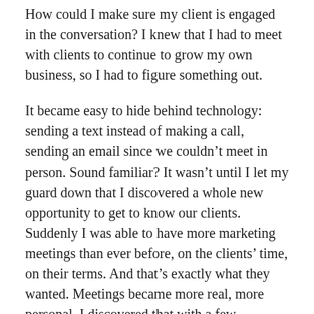How could I make sure my client is engaged in the conversation? I knew that I had to meet with clients to continue to grow my own business, so I had to figure something out.
It became easy to hide behind technology: sending a text instead of making a call, sending an email since we couldn't meet in person. Sound familiar? It wasn't until I let my guard down that I discovered a whole new opportunity to get to know our clients. Suddenly I was able to have more marketing meetings than ever before, on the clients' time, on their terms. And that's exactly what they wanted. Meetings became more real, more personal. I discovered that with a few adjustments, I could still connect with people on a new personal level and gain new clients.
So, here's my tip: Embrace this new way of reaching